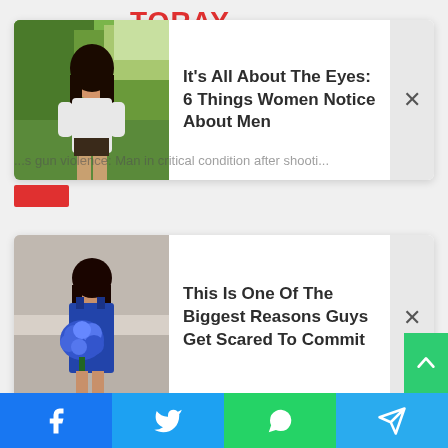TORAY
[Figure (screenshot): Article card 1: Woman with dark hair outdoors in white top. Article title: It's All About The Eyes: 6 Things Women Notice About Men. Close (X) button on right.]
...s gun violence: Man in critical condition after shooti...
[Figure (screenshot): Article card 2: Woman in blue dress holding blue bouquet of roses. Article title: This Is One Of The Biggest Reasons Guys Get Scared To Commit. Close (X) button on right.]
Facebook | Twitter | WhatsApp | Telegram